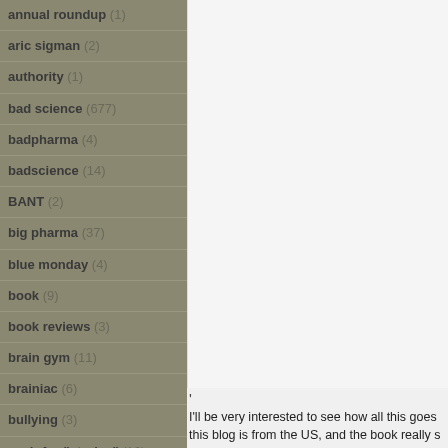annual roundup (1)
aric sigman (2)
authority (1)
bad science (677)
badpharma (4)
badscience (14)
BANT (2)
big pharma (37)
blue monday (4)
book (9)
book reviews (3)
brain gym (11)
brainiac (6)
bullying (3)
cash-for-"stories" (16)
celebs (13)
childishness (1)
chocolate (6)
churnalism (8)
climate change (6)
‘
I’ll be very interested to see how all this goes this blog is from the US, and the book really s so far and Christmas number one in the non-f about it will be a long one back in America, a